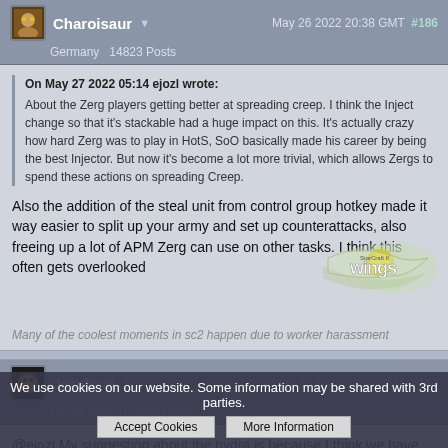Charoisaur   May 26 2022 20:38 GMT  #186
Germany  14823 Posts
On May 27 2022 05:14 ejozl wrote:
About the Zerg players getting better at spreading creep. I think the Inject change so that it's stackable had a huge impact on this. It's actually crazy how hard Zerg was to play in HotS, SoO basically made his career by being the best Injector. But now it's become a lot more trivial, which allows Zergs to spend these actions on spreading Creep.
Also the addition of the steal unit from control group hotkey made it way easier to split up your army and set up counterattacks, also freeing up a lot of APM Zerg can use on other tasks. I think this often gets overlooked
Many of the coolest moments in sc2 happen due to worker harassment
Jerubaal   May 26 2022 23:36 GMT  #187
United States  7660 Posts
@ejozi My suggestion about the hydra is because I think we have gotten these ideas about balance and design in our heads over the last decade...
We use cookies on our website. Some information may be shared with 3rd parties.  Accept Cookies  More Information